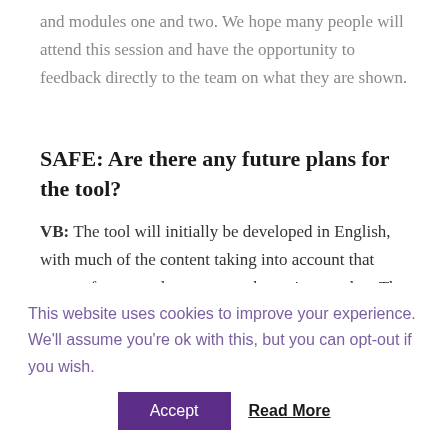and modules one and two. We hope many people will attend this session and have the opportunity to feedback directly to the team on what they are shown.
SAFE: Are there any future plans for the tool?
VB: The tool will initially be developed in English, with much of the content taking into account that many of our members may not be native speaker. The content is being designed
This website uses cookies to improve your experience. We'll assume you're ok with this, but you can opt-out if you wish.
Accept   Read More